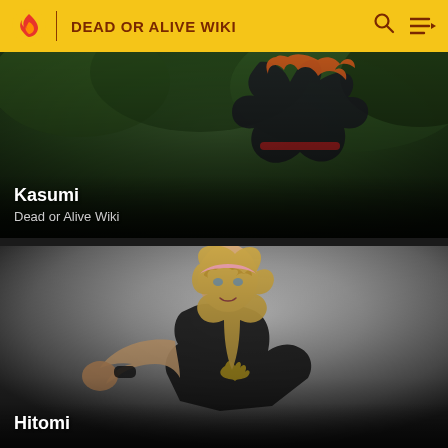DEAD OR ALIVE WIKI
[Figure (screenshot): Dead or Alive Wiki webpage showing character card for Kasumi — a 3D rendered female character with long auburn hair wearing a black outfit, set against a dark green forest background. Text overlay shows 'Kasumi' in bold white and 'Dead or Alive Wiki' in gray.]
[Figure (screenshot): Dead or Alive Wiki webpage showing character card for Hitomi — a 3D rendered female character with long blonde hair and pink headband, wearing a black outfit, shown in a fighting pose against a gray gradient background. Text overlay shows 'Hitomi' in bold white.]